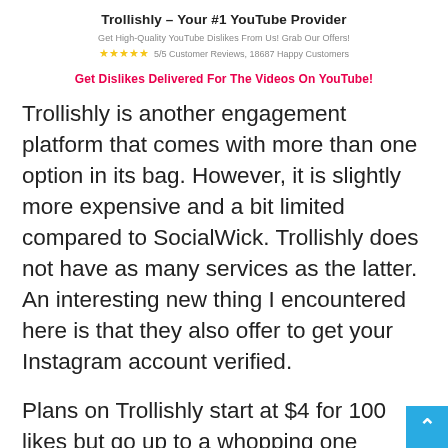Trollishly – Your #1 YouTube Provider
Get High-Quality YouTube Dislikes From Us! Grab Our Offers!
★★★★★ 5/5 Customer Reviews, 18687 Happy Customers
Get Dislikes Delivered For The Videos On YouTube!
Trollishly is another engagement platform that comes with more than one option in its bag. However, it is slightly more expensive and a bit limited compared to SocialWick. Trollishly does not have as many services as the latter. An interesting new thing I encountered here is that they also offer to get your Instagram account verified.
Plans on Trollishly start at $4 for 100 likes but go up to a whopping one hundred thousand dislikes for $1000. For custom orders, you can always contact them since customer services are available